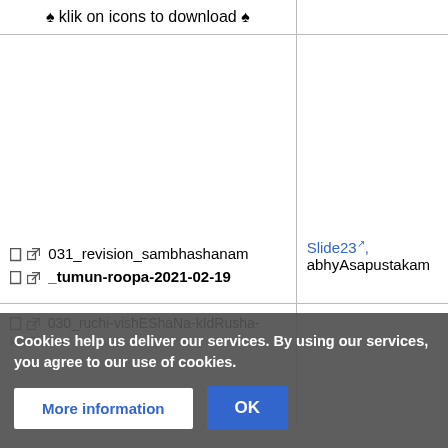| File | References |
| --- | --- |
| ♠ klik on icons to download ♠ |  |
| □↗ 031_revision_sambhashanam
□↗ _tumun-roopa-2021-02-19 | Slide23↗,
abhyAsapustakam |
| □↗ 030_ruchi-vishEShaNa-kIdRusha-
kIdRusha
□↗ vira_sunAsha-apEkShayA-
yatra_tatra
-2021-02-12 | Slide22↗,
abhyAsapustakam |
Cookies help us deliver our services. By using our services, you agree to our use of cookies.
More information | OK